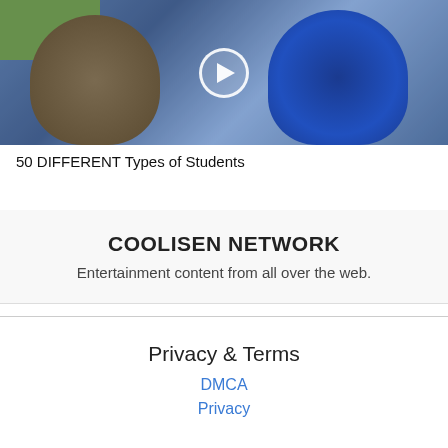[Figure (photo): Two students in high school attire — one in a varsity jacket and one in a blue cheerleader uniform holding blue pom-poms — standing outdoors near a chain-link fence. A video play button overlay is visible in the center.]
50 DIFFERENT Types of Students
COOLISEN NETWORK
Entertainment content from all over the web.
Privacy & Terms
DMCA
Privacy